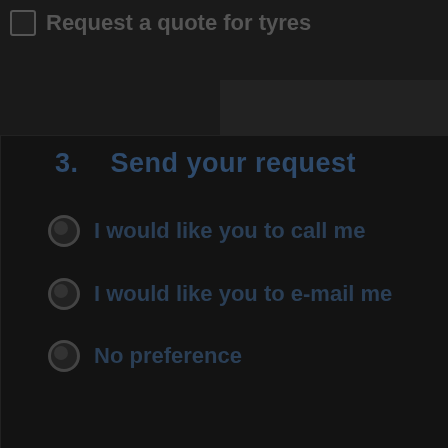Request a quote for tyres
3.    Send your request
I would like you to call me
I would like you to e-mail me
No preference